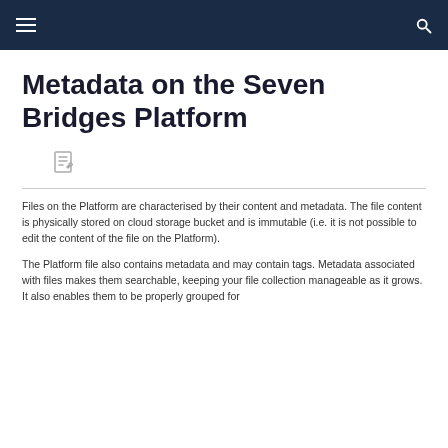≡  🔍
Metadata on the Seven Bridges Platform
[Figure (illustration): Edit/pencil-on-document icon]
Files on the Platform are characterised by their content and metadata. The file content is physically stored on cloud storage bucket and is immutable (i.e. it is not possible to edit the content of the file on the Platform).
The Platform file also contains metadata and may contain tags. Metadata associated with files makes them searchable, keeping your file collection manageable as it grows. It also enables them to be properly grouped for